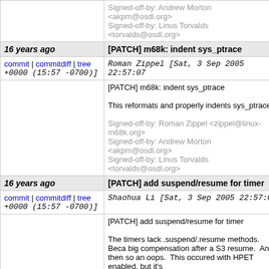Signed-off-by: Andrew Morton <akpm@osdl.org>
Signed-off-by: Linus Torvalds <torvalds@osdl.org>
16 years ago | [PATCH] m68k: indent sys_ptrace
commit | commitdiff | tree  Roman Zippel [Sat, 3 Sep 2005 22:57:07 +0000 (15:57 -0700)]
[PATCH] m68k: indent sys_ptrace

This reformats and properly indents sys_ptrace (o

Signed-off-by: Roman Zippel <zippel@linux-m68k.org>
Signed-off-by: Andrew Morton <akpm@osdl.org>
Signed-off-by: Linus Torvalds <torvalds@osdl.org>
16 years ago | [PATCH] add suspend/resume for timer
commit | commitdiff | tree  Shaohua Li [Sat, 3 Sep 2005 22:57:07 +0000 (15:57 -0700)]
[PATCH] add suspend/resume for timer

The timers lack .suspend/.resume methods. Beca big compensation after a S3 resume. And then so an oops. This occured with HPET enabled, but it's